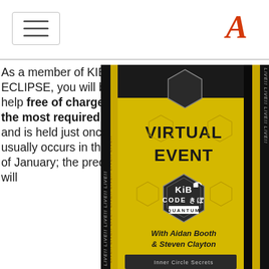Navigation header with hamburger menu and logo 'A'
As a member of KIBO ECLIPSE, you will be able to help free of charge to one of the most required events and is held just once a year. It usually occurs in the recently of January; the precise date will
[Figure (photo): Virtual Event promotional banner for KiBO CODE Quantum with Aidan Booth & Steven Clayton, gold hexagonal design with 'LIVE!!' repeated text on sides]